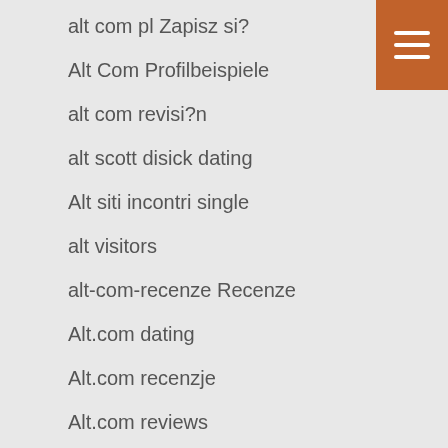alt com pl Zapisz si?
Alt Com Profilbeispiele
alt com revisi?n
alt scott disick dating
Alt siti incontri single
alt visitors
alt-com-recenze Recenze
Alt.com dating
Alt.com recenzje
Alt.com reviews
Alt.com seiten
Alt.com sign in
altcom cs reviews